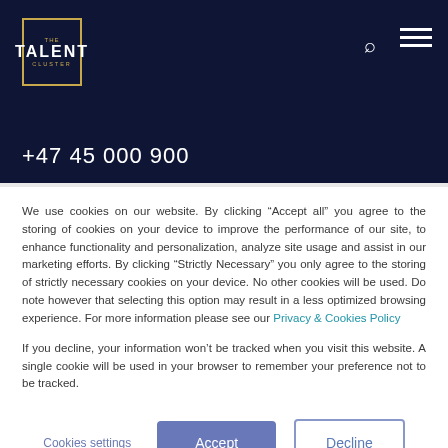[Figure (logo): The Talent Cluster logo — square border in gold with 'THE' above 'TALENT' and 'CLUSTER' below, white text on dark background]
+47 45 000 900
We use cookies on our website. By clicking “Accept all” you agree to the storing of cookies on your device to improve the performance of our site, to enhance functionality and personalization, analyze site usage and assist in our marketing efforts. By clicking “Strictly Necessary” you only agree to the storing of strictly necessary cookies on your device. No other cookies will be used. Do note however that selecting this option may result in a less optimized browsing experience. For more information please see our Privacy & Cookies Policy
If you decline, your information won’t be tracked when you visit this website. A single cookie will be used in your browser to remember your preference not to be tracked.
Cookies settings  Accept  Decline